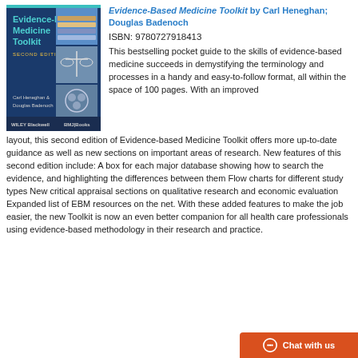[Figure (illustration): Book cover of Evidence-based Medicine Toolkit, Second Edition by Carl Heneghan and Douglas Badenoch, published by Wiley Blackwell and BMJ Books. Dark blue cover with medical imagery.]
Evidence-Based Medicine Toolkit by Carl Heneghan; Douglas Badenoch
ISBN: 9780727918413
This bestselling pocket guide to the skills of evidence-based medicine succeeds in demystifying the terminology and processes in a handy and easy-to-follow format, all within the space of 100 pages. With an improved layout, this second edition of Evidence-based Medicine Toolkit offers more up-to-date guidance as well as new sections on important areas of research. New features of this second edition include: A box for each major database showing how to search the evidence, and highlighting the differences between them Flow charts for different study types New critical appraisal sections on qualitative research and economic evaluation Expanded list of EBM resources on the net. With these added features to make the job easier, the new Toolkit is now an even better companion for all health care professionals using evidence-based methodology in their research and practice.